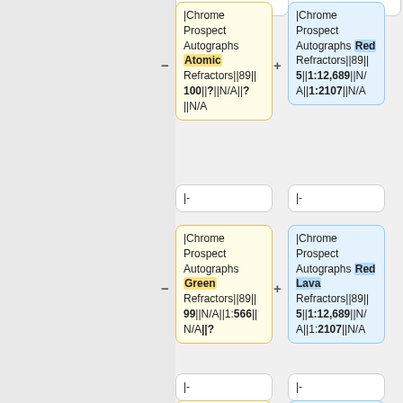|Chrome Prospect Autographs Atomic Refractors||89||100||?||N/A||?||N/A
|Chrome Prospect Autographs Red Refractors||89||5||1:12,689||N/A||1:2107||N/A
|-
|-
|Chrome Prospect Autographs Green Refractors||89||99||N/A||1:566||N/A||?
|Chrome Prospect Autographs Red Lava Refractors||89||5||1:12,689||N/A||1:2107||N/A
|-
|-
|Chrome Prospect
|Chrome Prospect